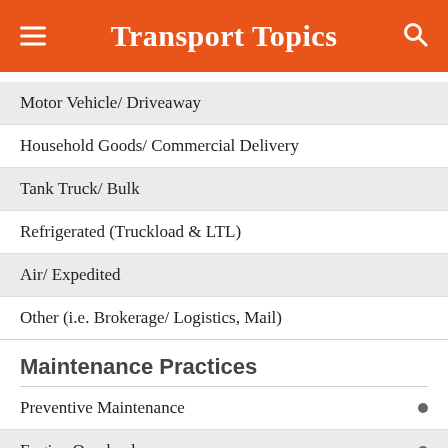Transport Topics
Motor Vehicle/ Driveaway
Household Goods/ Commercial Delivery
Tank Truck/ Bulk
Refrigerated (Truckload & LTL)
Air/ Expedited
Other (i.e. Brokerage/ Logistics, Mail)
Maintenance Practices
Preventive Maintenance
Engine Overhauls
Body Work on Tractors or Trailers
Trailer Refrigeration Unit Maintenance and Repairs
Tire Repairs